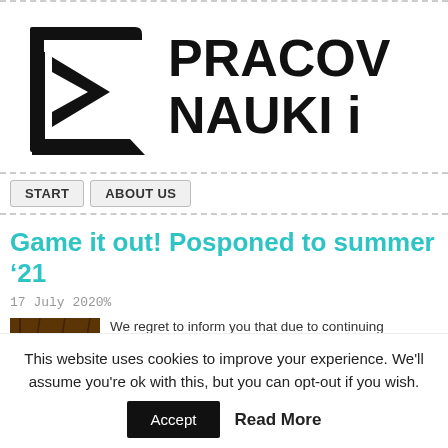[Figure (logo): Black geometric logo resembling an open book or angular shape, with bold text 'PRACOV' and 'NAUKI i' partially visible to the right]
START   ABOUT US
Game it out! Posponed to summer ’21
17 July 2020%
[Figure (photo): Small thumbnail photo showing a wooden/rustic structure interior]
We regret to inform you that due to continuing difficulties w
This website uses cookies to improve your experience. We'll assume you're ok with this, but you can opt-out if you wish.
Accept   Read More